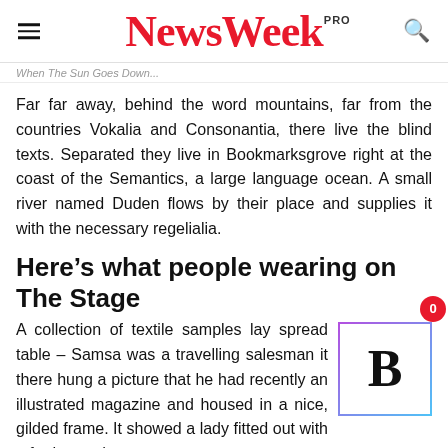NewsWeek PRO
When The Sun Goes Down...
Far far away, behind the word mountains, far from the countries Vokalia and Consonantia, there live the blind texts. Separated they live in Bookmarksgrove right at the coast of the Semantics, a large language ocean. A small river named Duden flows by their place and supplies it with the necessary regelialia.
Here’s what people wearing on The Stage
A collection of textile samples lay spread table – Samsa was a travelling salesman it there hung a picture that he had recently an illustrated magazine and housed in a nice, gilded frame. It showed a lady fitted out with a fur hat and